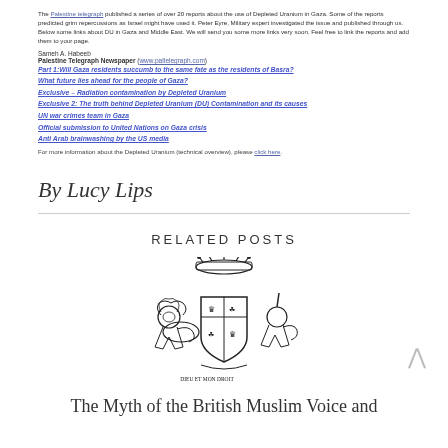The Palestine telegraph published a series of over 20 reports about the use of Depleted Uranium in Gaza. Some of the reports predicted grim repercussions as Israel might have used it. Peter Eyre, Military expert investigated the issue and published through us. Below some links about DU in Gaza and Middle East. We will send you some more links very soon. Feel free to link the reports and add them to your page.
Sameh A. Habeeb
Palestine Telegraph Newspaper (www.paltelegraph.com)
Part 1:Will Gaza residents succumb to the same fate as the residents of Basra?
What future lies ahead for the people of Gaza?
Exclusive – Radiation contamination by Depleted Uranium
Exclusive 2: The truth behind Depleted Uranium (DU) Contamination and its causes
UN war crimes team in Gaza
Official submission to United Nations on Gaza crisis
Anti Arab brainwashing by the US media
For more information about the Depleted Uranium (technical overview), please click here.
By Lucy Lips
RELATED POSTS
[Figure (illustration): British Royal Coat of Arms illustration showing lion and unicorn supporters, crown on top, shield in center, black and white engraving style]
The Myth of the British Muslim Voice and